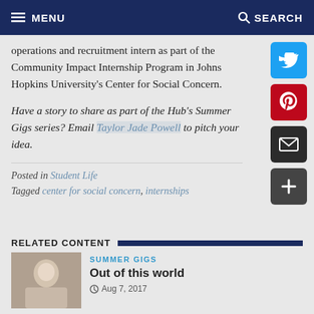MENU  SEARCH
operations and recruitment intern as part of the Community Impact Internship Program in Johns Hopkins University's Center for Social Concern.
Have a story to share as part of the Hub's Summer Gigs series? Email Taylor Jade Powell to pitch your idea.
Posted in Student Life
Tagged center for social concern, internships
RELATED CONTENT
SUMMER GIGS
Out of this world
Aug 7, 2017